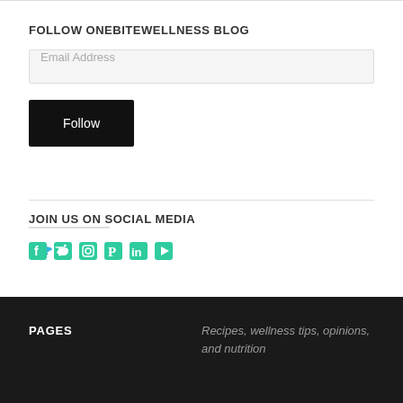FOLLOW ONEBITEWELLNESS BLOG
Email Address
Follow
JOIN US ON SOCIAL MEDIA
[Figure (infographic): Social media icons: Facebook, Twitter, Instagram, Pinterest, LinkedIn, YouTube in teal/green color]
PAGES
Recipes, wellness tips, opinions, and nutrition